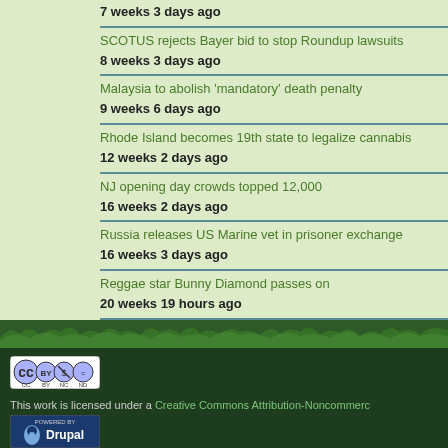7 weeks 3 days ago
SCOTUS rejects Bayer bid to stop Roundup lawsuits
8 weeks 3 days ago
Malaysia to abolish 'mandatory' death penalty
9 weeks 6 days ago
Rhode Island becomes 19th state to legalize cannabis
12 weeks 2 days ago
NJ opening day crowds topped 12,000
16 weeks 2 days ago
Russia releases US Marine vet in prisoner exchange
16 weeks 3 days ago
Reggae star Bunny Diamond passes on
20 weeks 19 hours ago
[Figure (logo): Creative Commons BY NC ND license badge]
This work is licensed under a Creative Commons Attribution-Noncommercial
[Figure (logo): Powered by Drupal badge]